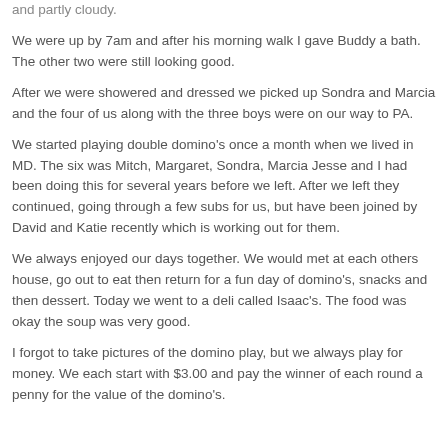and partly cloudy.
We were up by 7am and after his morning walk I gave Buddy a bath. The other two were still looking good.
After we were showered and dressed we picked up Sondra and Marcia and the four of us along with the three boys were on our way to PA.
We started playing double domino's once a month when we lived in MD. The six was Mitch, Margaret, Sondra, Marcia Jesse and I had been doing this for several years before we left. After we left they continued, going through a few subs for us, but have been joined by David and Katie recently which is working out for them.
We always enjoyed our days together. We would met at each others house, go out to eat then return for a fun day of domino's, snacks and then dessert. Today we went to a deli called Isaac's. The food was okay the soup was very good.
I forgot to take pictures of the domino play, but we always play for money. We each start with $3.00 and pay the winner of each round a penny for the value of the domino's.